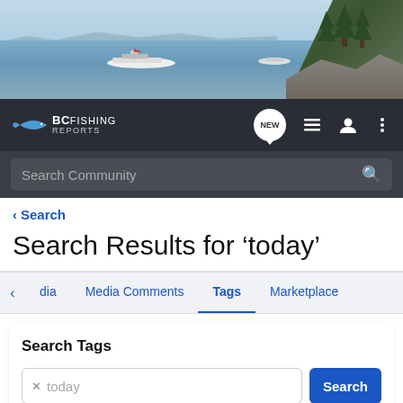[Figure (photo): Banner photo showing boats on calm water with rocky tree-covered island on the right and hazy mountains in background]
BC Fishing Reports
Search Community (search bar)
< Search
Search Results for ‘today’
< dia  Media Comments  Tags  Marketplace
Search Tags
today  Search